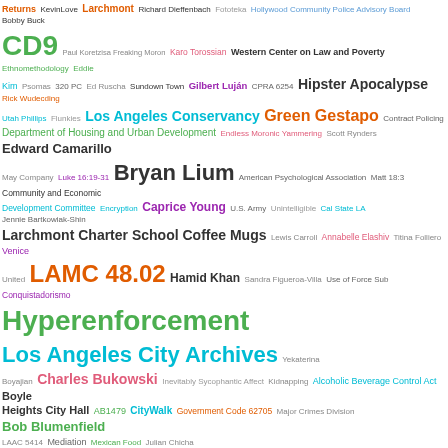[Figure (infographic): Word cloud featuring terms related to Los Angeles government, law, community organizations, and public figures. Terms vary in size, color, and position to indicate frequency or importance. Includes terms like 'Greater West Hollywood Food Coalition', 'Hyperenforcement', 'LAMC 48.02', 'Los Angeles City Archives', 'Bryan Lium', 'Green Gestapo', 'Marisol Rodriguez', 'Chief Legislative Analyst', 'Brooke Rios', 'Emilio Pack', 'Charles Bukowski', 'Bob Blumenfield', 'Larchmont', 'CD9', 'Hipster Apocalypse', 'Fee Awards', 'Amicus Curiae', 'Code of Civil Procedure 526a', 'AB1819', and many more.]